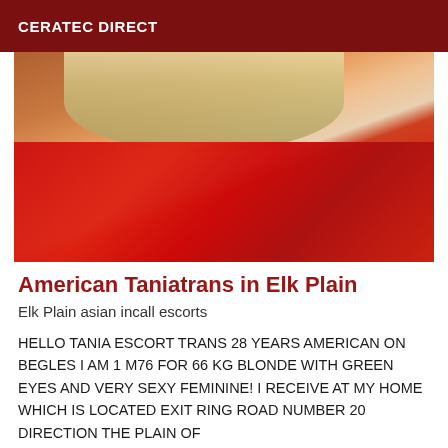CERATEC DIRECT
[Figure (photo): A person with blonde hair wearing a red top, photo cropped at shoulders, blurred/partially visible face]
American Taniatrans in Elk Plain
Elk Plain asian incall escorts
HELLO TANIA ESCORT TRANS 28 YEARS AMERICAN ON BEGLES I AM 1 M76 FOR 66 KG BLONDE WITH GREEN EYES AND VERY SEXY FEMININE! I RECEIVE AT MY HOME WHICH IS LOCATED EXIT RING ROAD NUMBER 20 DIRECTION THE PLAIN OF